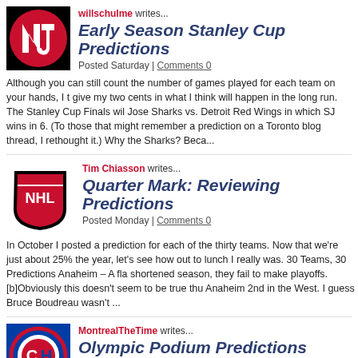[Figure (logo): New Jersey Devils logo - red and black NHL team logo]
willschulme writes...
Early Season Stanley Cup Predictions
Posted Saturday | Comments 0
Although you can still count the number of games played for each team on your hands, I t give my two cents in what I think will happen in the long run. The Stanley Cup Finals wil Jose Sharks vs. Detroit Red Wings in which SJ wins in 6. (To those that might remember a prediction on a Toronto blog thread, I rethought it.) Why the Sharks? Beca...
[Figure (logo): NHL shield logo - black and silver official NHL logo]
Tim Chiasson writes...
Quarter Mark: Reviewing Predictions
Posted Monday | Comments 0
In October I posted a prediction for each of the thirty teams. Now that we're just about 25% the year, let's see how out to lunch I really was. 30 Teams, 30 Predictions Anaheim – A fla shortened season, they fail to make playoffs. [b]Obviously this doesn't seem to be true thu Anaheim 2nd in the West. I guess Bruce Boudreau wasn't ...
[Figure (logo): Montreal Canadiens logo - red and blue CH logo]
MontrealTheTime writes...
Olympic Podium Predictions
Posted Tuesday | Comments 1
In light of the recent NHL hiatus I, like many hockey fans, have turned my attention towa...